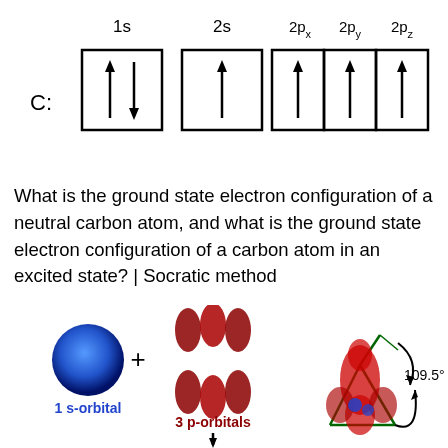[Figure (schematic): Orbital box diagram for Carbon (C) showing electron configuration: 1s orbital with two electrons (up and down arrows), 2s orbital with one electron (up arrow), and three 2p orbitals (2px, 2py, 2pz) each with one electron (up arrows). Labels above: 1s, 2s, 2px, 2py, 2pz.]
What is the ground state electron configuration of a neutral carbon atom, and what is the ground state electron configuration of a carbon atom in an excited state? | Socratic method
[Figure (illustration): Illustration showing hybrid orbital formation: a blue s-orbital sphere plus (+) three red p-orbitals (double-lobed, shown as 3 p-orbitals), with labels '1 s-orbital' in blue and '3 p-orbitals' in dark red/maroon. A downward arrow below indicates combination. On the right, a 3D sp3 tetrahedral hybridization diagram with green lines showing 109.5° bond angle, red orbital lobes and blue spheres at center.]